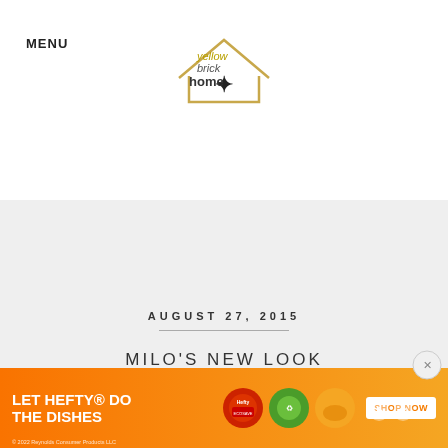MENU
[Figure (logo): Yellow Brick Home logo with house outline and star, text reads 'yellow brick home']
AUGUST 27, 2015
MILO'S NEW LOOK
[Figure (other): Advertisement banner: LET HEFTY DO THE DISHES with product images and SHOP NOW button]